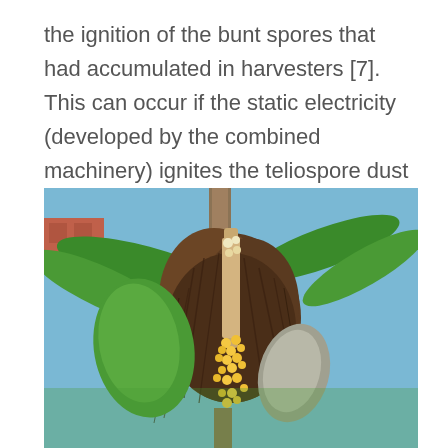the ignition of the bunt spores that had accumulated in harvesters [7]. This can occur if the static electricity (developed by the combined machinery) ignites the teliospore dust released by the combine.
[Figure (photo): Close-up photograph of a corn/maize plant showing bunt disease infection. The tassel area is surrounded by dark brown fungal material (teliospores/bunt mass) with some yellow corn kernels visible at the base. Green leaves and corn husks are visible in the background along with a blue sky and a building.]